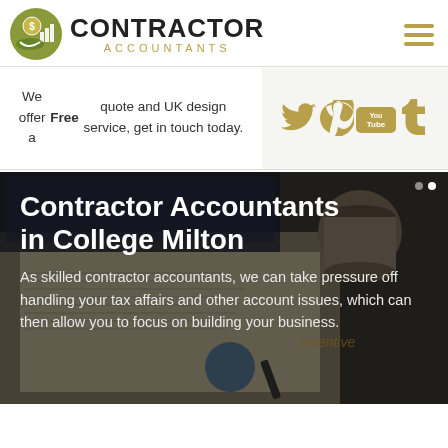[Figure (logo): Contractor Accountants logo with coin/calculator icon and text]
We offer a Free quote and UK design service, get in touch today.
[Figure (infographic): Social media icons: Twitter, Pinterest, YouTube, Tumblr in gold color]
[Figure (photo): Background photo of financial documents, pen, calculator and coffee cup]
Contractor Accountants in College Milton
As skilled contractor accountants, we can take pressure off handling your tax affairs and other account issues, which can then allow you to focus on building your business.